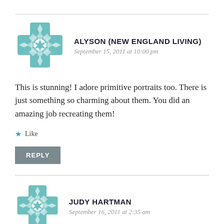[Figure (illustration): Teal decorative geometric/floral avatar icon for user Alyson (New England Living)]
ALYSON (NEW ENGLAND LIVING)
September 15, 2011 at 10:00 pm
This is stunning! I adore primitive portraits too. There is just something so charming about them. You did an amazing job recreating them!
★ Like
REPLY
[Figure (illustration): Teal decorative geometric/floral avatar icon for user Judy Hartman]
JUDY HARTMAN
September 16, 2011 at 2:35 am